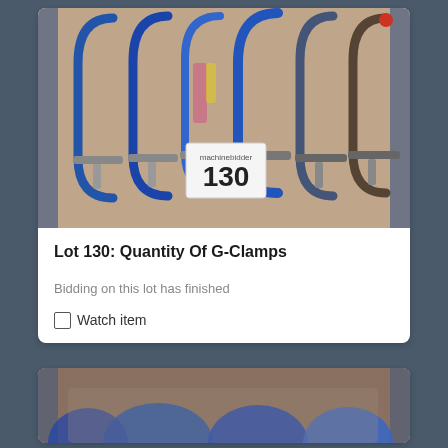[Figure (photo): Photograph of a quantity of G-clamps laid flat on a wooden surface with a tag numbered 130 from machinebidder visible in the center]
Lot 130: Quantity Of G-Clamps
Bidding on this lot has finished
Watch item
[Figure (photo): Partial photograph of blue G-clamps in a box, partially visible at the bottom of the page]